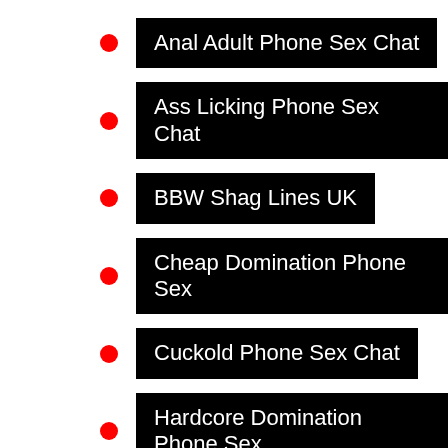Anal Adult Phone Sex Chat
Ass Licking Phone Sex Chat
BBW Shag Lines UK
Cheap Domination Phone Sex
Cuckold Phone Sex Chat
Hardcore Domination Phone Sex
Humiliation Phone Sex Chat